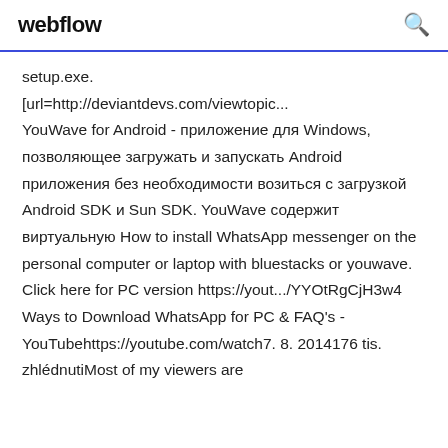webflow
setup.exe.
[url=http://deviantdevs.com/viewtopic...
YouWave for Android - приложение для Windows, позволяющее загружать и запускать Android приложения без необходимости возиться с загрузкой Android SDK и Sun SDK. YouWave содержит виртуальную How to install WhatsApp messenger on the personal computer or laptop with bluestacks or youwave. Click here for PC version https://yout.../YYOtRgCjH3w4 Ways to Download WhatsApp for PC & FAQ's - YouTubehttps://youtube.com/watch7. 8. 2014176 tis. zhlédnutiMost of my viewers are